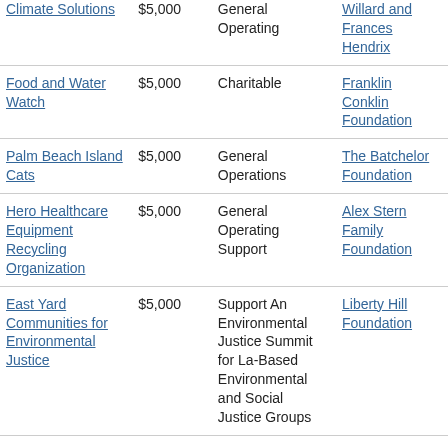| Organization | Amount | Purpose | Funder |
| --- | --- | --- | --- |
| Climate Solutions | $5,000 | General Operating | Willard and Frances Hendrix |
| Food and Water Watch | $5,000 | Charitable | Franklin Conklin Foundation |
| Palm Beach Island Cats | $5,000 | General Operations | The Batchelor Foundation |
| Hero Healthcare Equipment Recycling Organization | $5,000 | General Operating Support | Alex Stern Family Foundation |
| East Yard Communities for Environmental Justice | $5,000 | Support An Environmental Justice Summit for La-Based Environmental and Social Justice Groups | Liberty Hill Foundation |